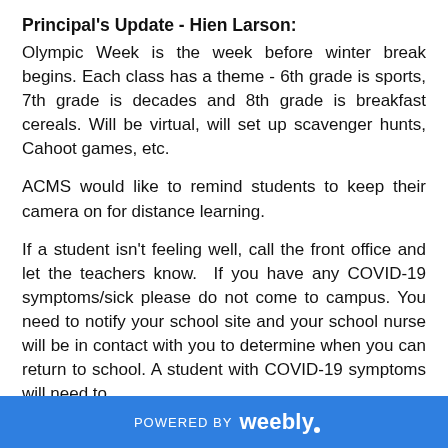Principal's Update - Hien Larson:
Olympic Week is the week before winter break begins. Each class has a theme - 6th grade is sports, 7th grade is decades and 8th grade is breakfast cereals. Will be virtual, will set up scavenger hunts, Cahoot games, etc.
ACMS would like to remind students to keep their camera on for distance learning.
If a student isn't feeling well, call the front office and let the teachers know.  If you have any COVID-19 symptoms/sick please do not come to campus. You need to notify your school site and your school nurse will be in contact with you to determine when you can return to school. A student with COVID-19 symptoms will need to
POWERED BY weebly